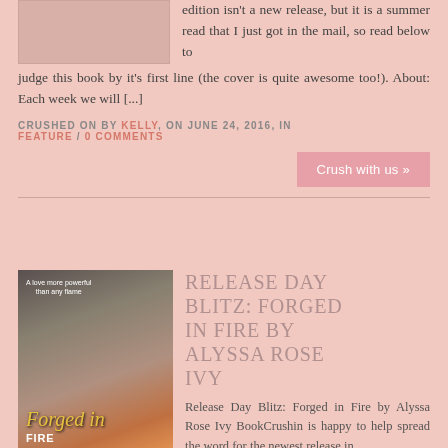[Figure (photo): Partial book cover image at top left, cropped]
edition isn't a new release, but it is a summer read that I just got in the mail, so read below to judge this book by it's first line (the cover is quite awesome too!). About: Each week we will [...]
CRUSHED ON BY KELLY, ON JUNE 24, 2016, IN FEATURE / 0 COMMENTS
Crush with us »
[Figure (photo): Book cover for Forged in Fire by Alyssa Rose Ivy — dark romantic cover with figures, gold script title]
RELEASE DAY BLITZ: FORGED IN FIRE BY ALYSSA ROSE IVY
Release Day Blitz: Forged in Fire by Alyssa Rose Ivy BookCrushin is happy to help spread the word for the newest release in